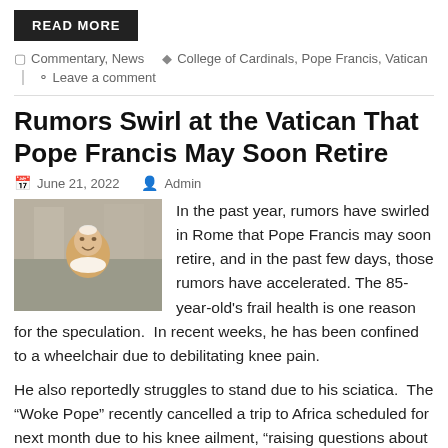READ MORE
Commentary, News   College of Cardinals, Pope Francis, Vatican
Leave a comment
Rumors Swirl at the Vatican That Pope Francis May Soon Retire
June 21, 2022   Admin
[Figure (photo): Photo of Pope Francis smiling, outdoors near a building]
In the past year, rumors have swirled in Rome that Pope Francis may soon retire, and in the past few days, those rumors have accelerated. The 85-year-old's frail health is one reason for the speculation.  In recent weeks, he has been confined to a wheelchair due to debilitating knee pain.
He also reportedly struggles to stand due to his sciatica.  The “Woke Pope” recently cancelled a trip to Africa scheduled for next month due to his knee ailment, “raising questions about his ability to walk during the rest of his papacy,” according